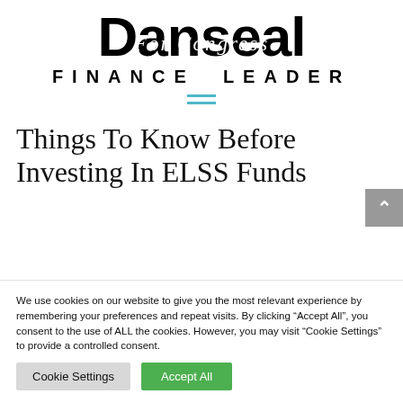Danseal For Congress Finance Leader
Things To Know Before Investing In ELSS Funds
We use cookies on our website to give you the most relevant experience by remembering your preferences and repeat visits. By clicking “Accept All”, you consent to the use of ALL the cookies. However, you may visit “Cookie Settings” to provide a controlled consent.